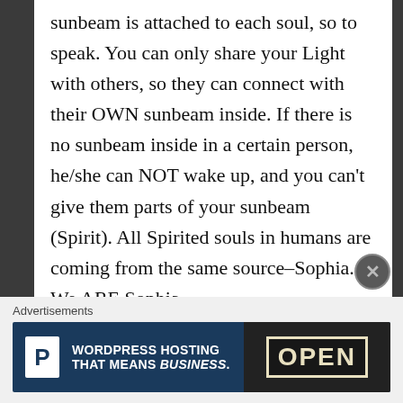sunbeam is attached to each soul, so to speak. You can only share your Light with others, so they can connect with their OWN sunbeam inside. If there is no sunbeam inside in a certain person, he/she can NOT wake up, and you can't give them parts of your sunbeam (Spirit). All Spirited souls in humans are coming from the same source–Sophia. We ARE Sophia.
Liked by 2 people
Reply
Advertisements
[Figure (screenshot): Advertisement banner for WordPress Hosting with a P logo on blue background and an OPEN sign image on the right]